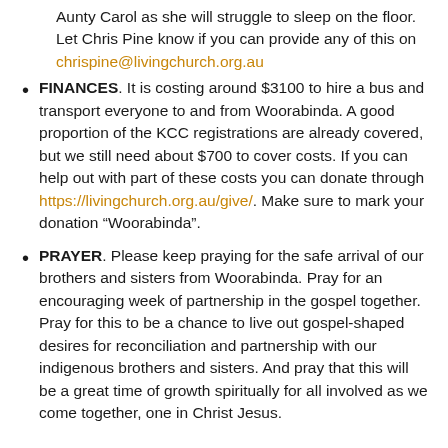Aunty Carol as she will struggle to sleep on the floor. Let Chris Pine know if you can provide any of this on chrispine@livingchurch.org.au
FINANCES. It is costing around $3100 to hire a bus and transport everyone to and from Woorabinda. A good proportion of the KCC registrations are already covered, but we still need about $700 to cover costs. If you can help out with part of these costs you can donate through https://livingchurch.org.au/give/. Make sure to mark your donation “Woorabinda”.
PRAYER. Please keep praying for the safe arrival of our brothers and sisters from Woorabinda. Pray for an encouraging week of partnership in the gospel together. Pray for this to be a chance to live out gospel-shaped desires for reconciliation and partnership with our indigenous brothers and sisters. And pray that this will be a great time of growth spiritually for all involved as we come together, one in Christ Jesus.